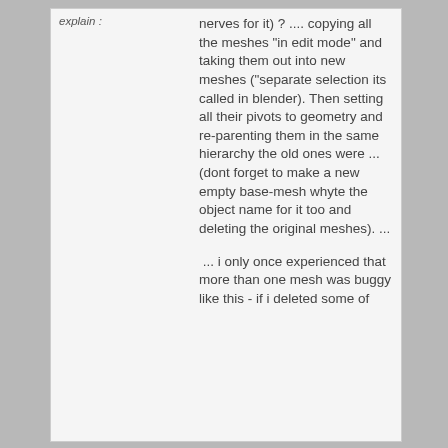explain :
nerves for it) ? .... copying all the meshes "in edit mode" and taking them out into new meshes ("separate selection its called in blender). Then setting all their pivots to geometry and re-parenting them in the same hierarchy the old ones were ... (dont forget to make a new empty base-mesh whyte the object name for it too and deleting the original meshes). ...
... i only once experienced that more than one mesh was buggy like this - if i deleted some of